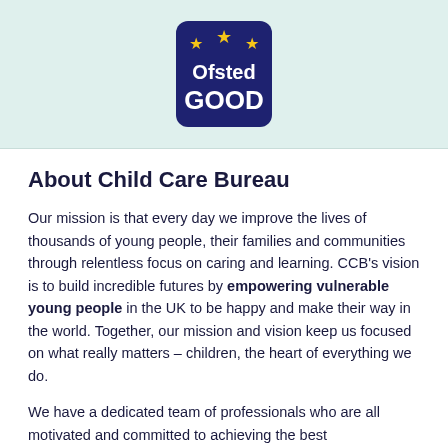[Figure (logo): Ofsted GOOD badge — dark navy blue rounded square with three gold stars and white text reading 'Ofsted' and 'GOOD']
About Child Care Bureau
Our mission is that every day we improve the lives of thousands of young people, their families and communities through relentless focus on caring and learning. CCB's vision is to build incredible futures by empowering vulnerable young people in the UK to be happy and make their way in the world. Together, our mission and vision keep us focused on what really matters – children, the heart of everything we do.
We have a dedicated team of professionals who are all motivated and committed to achieving the best